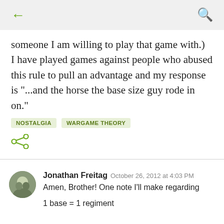← (back) | (search)
someone I am willing to play that game with.)  I have played games against people who abused this rule to pull an advantage and my response is "...and the horse the base size guy rode in on."
NOSTALGIA
WARGAME THEORY
[Figure (other): Share icon (three connected circles)]
Jonathan Freitag  October 26, 2012 at 4:03 PM
Amen, Brother! One note I'll make regarding

1 base = 1 regiment